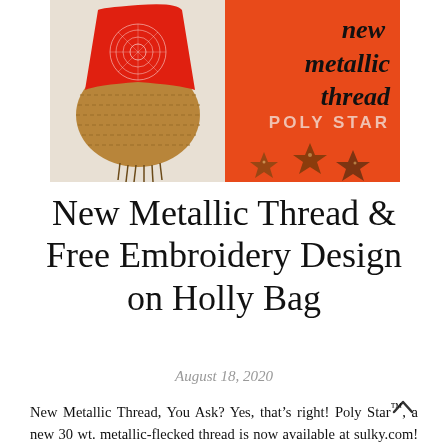[Figure (photo): Left half: a red cloth bag with white embroidered snowflake/mandala design hanging on a wicker/cork basket. Right half: orange background with hand-lettered italic text 'new metallic thread' in black, below that 'POLY STAR' in light pink sans-serif caps, and three glitter star decorations at the bottom.]
New Metallic Thread & Free Embroidery Design on Holly Bag
August 18, 2020
New Metallic Thread, You Ask? Yes, that’s right! Poly Star™, a new 30 wt. metallic-flecked thread is now available at sulky.com! This thread is polyester with “stars” of metallic